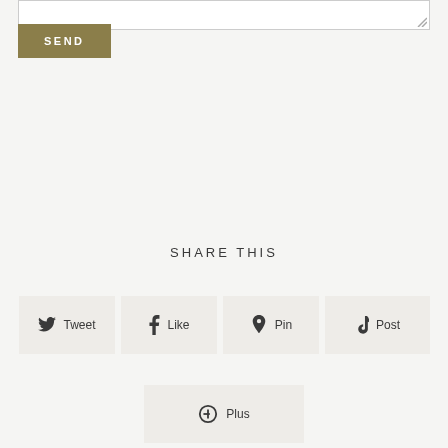[Figure (screenshot): A textarea input field (partially visible at top) with a resize handle in the bottom-right corner]
SEND
SHARE THIS
Tweet
Like
Pin
Post
Plus